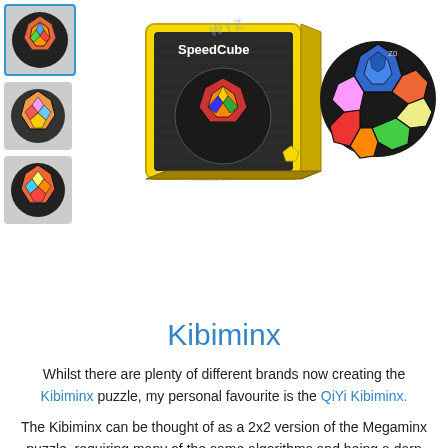[Figure (photo): Product thumbnails column on the left showing three views of a Kibiminx puzzle cube (colorful dodecahedron-shaped puzzle). The top thumbnail is selected with a blue border. Center shows a SpeedCube branded box. Right shows a close-up of the assembled Kibiminx puzzle.]
Kibiminx
Whilst there are plenty of different brands now creating the Kibiminx puzzle, my personal favourite is the QiYi Kibiminx.
The Kibiminx can be thought of as a 2x2 version of the Megaminx puzzle, requiring many of the same algorithms and being a darn